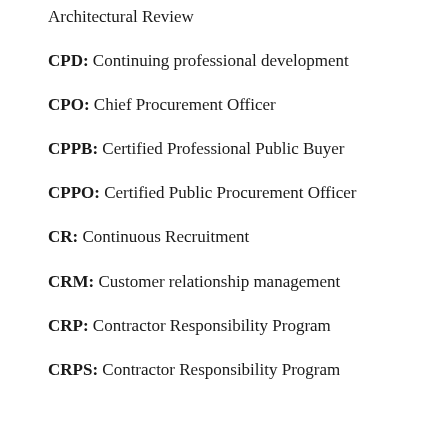Architectural Review
CPD: Continuing professional development
CPO: Chief Procurement Officer
CPPB: Certified Professional Public Buyer
CPPO: Certified Public Procurement Officer
CR: Continuous Recruitment
CRM: Customer relationship management
CRP: Contractor Responsibility Program
CRPS: Contractor Responsibility Program